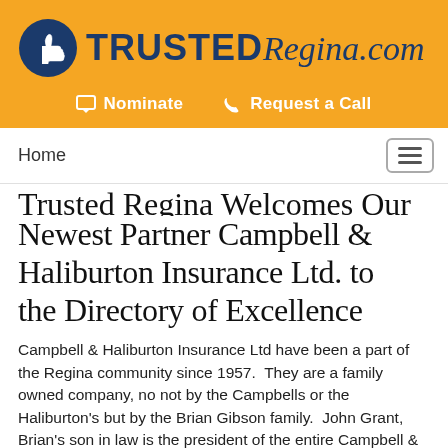[Figure (logo): TrustedRegina.com logo with blue thumbs-up icon and bold blue text]
Nominate   Request a Call
Home
Trusted Regina Welcomes Our Newest Partner Campbell & Haliburton Insurance Ltd. to the Directory of Excellence
Campbell & Haliburton Insurance Ltd have been a part of the Regina community since 1957. They are a family owned company, no not by the Campbells or the Haliburton's but by the Brian Gibson family. John Grant, Brian's son in law is the president of the entire Campbell & Haliburton group of companies including the insurance office.